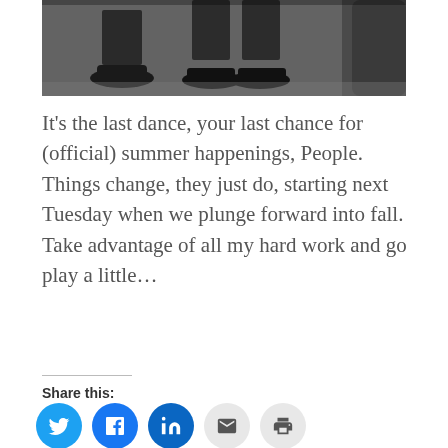[Figure (photo): Bottom portion of two people in dark suits and black shoes, appearing to be walking or dancing, on a light-colored floor near stairs or a railing.]
It’s the last dance, your last chance for (official) summer happenings, People. Things change, they just do, starting next Tuesday when we plunge forward into fall. Take advantage of all my hard work and go play a little…
Read more →
Share this: